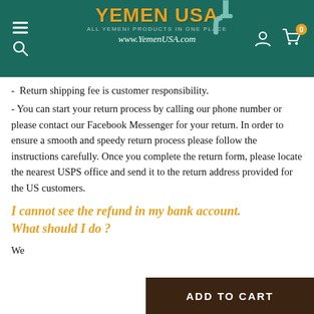[Figure (logo): Yemen USA website header with teal background, logo with pipe icon, navigation icons]
-  Return shipping fee is customer responsibility.
- You can start your return process by calling our phone number or please contact our Facebook Messenger for your return. In order to ensure a smooth and speedy return process please follow the instructions carefully. Once you complete the return form, please locate the nearest USPS office and send it to the return address provided for the US customers.
I cannot see the refund in my bank account. What should I do ?
We...